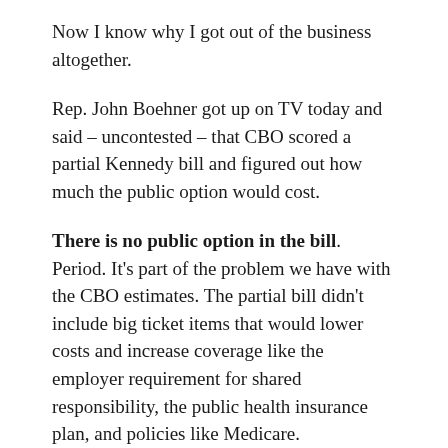Now I know why I got out of the business altogether.
Rep. John Boehner got up on TV today and said – uncontested – that CBO scored a partial Kennedy bill and figured out how much the public option would cost.
There is no public option in the bill. Period. It’s part of the problem we have with the CBO estimates. The partial bill didn’t include big ticket items that would lower costs and increase coverage like the employer requirement for shared responsibility, the public health insurance plan, and policies like Medicare.
Earlier today, a TV producer sent me a list of questions for an interview tomorrow, and three of the six were about government-run health care.